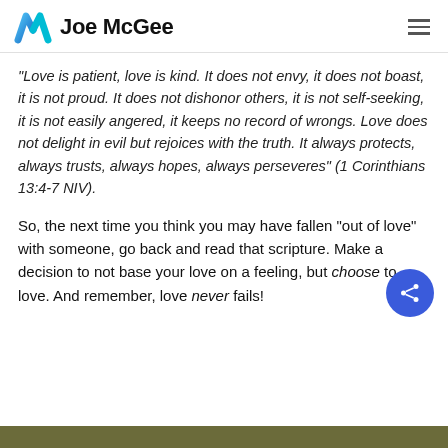Joe McGee
“Love is patient, love is kind. It does not envy, it does not boast, it is not proud. It does not dishonor others, it is not self-seeking, it is not easily angered, it keeps no record of wrongs. Love does not delight in evil but rejoices with the truth. It always protects, always trusts, always hopes, always perseveres” (1 Corinthians 13:4-7 NIV).
So, the next time you think you may have fallen “out of love” with someone, go back and read that scripture. Make a decision to not base your love on a feeling, but choose to love. And remember, love never fails!